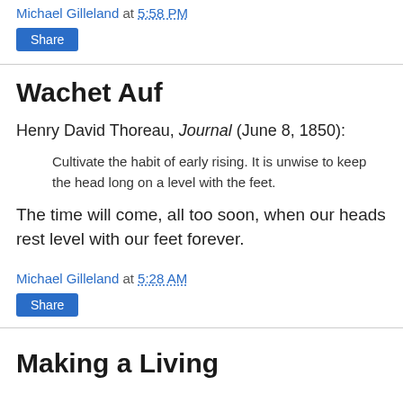I discussed auto-antonyms here.
Michael Gilleland at 5:58 PM
Share
Wachet Auf
Henry David Thoreau, Journal (June 8, 1850):
Cultivate the habit of early rising. It is unwise to keep the head long on a level with the feet.
The time will come, all too soon, when our heads rest level with our feet forever.
Michael Gilleland at 5:28 AM
Share
Making a Living